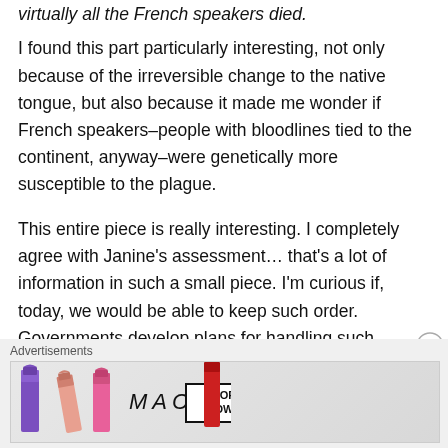virtually all the French speakers died.
I found this part particularly interesting, not only because of the irreversible change to the native tongue, but also because it made me wonder if French speakers–people with bloodlines tied to the continent, anyway–were genetically more susceptible to the plague.
This entire piece is really interesting. I completely agree with Janine's assessment… that's a lot of information in such a small piece. I'm curious if, today, we would be able to keep such order. Governments develop plans for handling such disasters, but as people become
Advertisements
[Figure (photo): MAC cosmetics advertisement showing lipsticks in purple, pink, and red colors with MAC logo and SHOP NOW button]